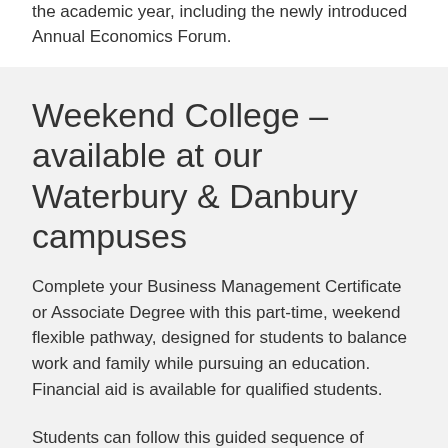the academic year, including the newly introduced Annual Economics Forum.
Weekend College – available at our Waterbury & Danbury campuses
Complete your Business Management Certificate or Associate Degree with this part-time, weekend flexible pathway, designed for students to balance work and family while pursuing an education. Financial aid is available for qualified students.
Students can follow this guided sequence of courses for a two-year (4 semester) completion of